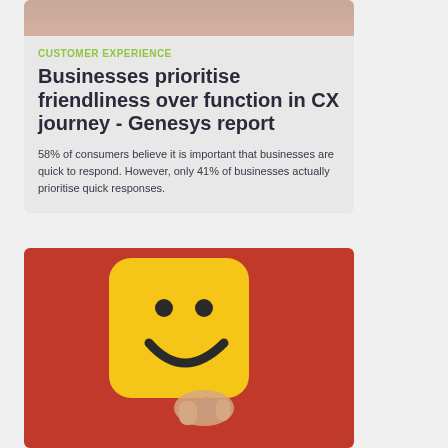[Figure (photo): Top portion of a card showing a cropped photo of a person (skin tones visible) with a light grey/pink background]
CUSTOMER EXPERIENCE
Businesses prioritise friendliness over function in CX journey - Genesys report
58% of consumers believe it is important that businesses are quick to respond. However, only 41% of businesses actually prioritise quick responses.
[Figure (photo): A hand holding a yellow square smiley face emoji on a red/pink background]